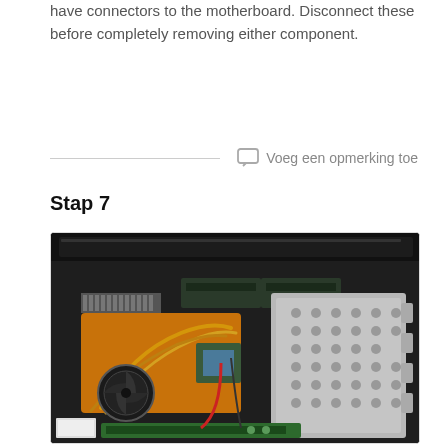have connectors to the motherboard. Disconnect these before completely removing either component.
Voeg een opmerking toe
Stap 7
[Figure (photo): Open laptop showing internal components including motherboard, CPU heatsink with fan and copper heat pipes, RAM modules, optical drive bay with metal bracket, and various cables on a black chassis.]